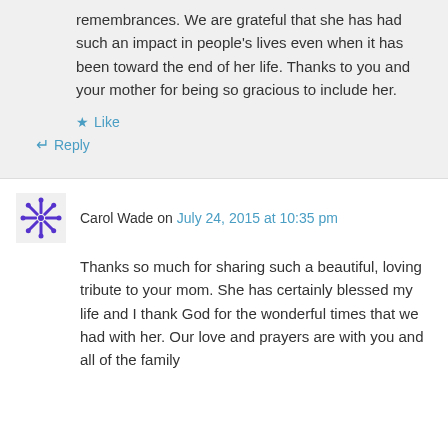remembrances. We are grateful that she has had such an impact in people's lives even when it has been toward the end of her life. Thanks to you and your mother for being so gracious to include her.
Like
Reply
Carol Wade on July 24, 2015 at 10:35 pm
Thanks so much for sharing such a beautiful, loving tribute to your mom. She has certainly blessed my life and I thank God for the wonderful times that we had with her. Our love and prayers are with you and all of the family